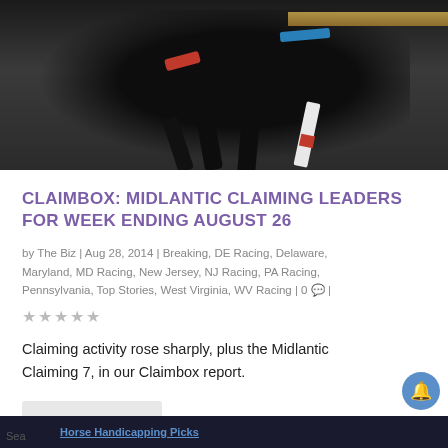[Figure (photo): A dark/black horse racing at speed, close-up of legs and body, with a red band/strap visible, blue accent near top, gold railing in background, white pole with red stripe in foreground]
CLAIMBOX: MIDLANTIC CLAIMING LEADERS FOR WEEK ENDING AUGUST 26
by The Biz | Aug 28, 2014 | Breaking, DE Racing, Delaware, Maryland, MD Racing, New Jersey, NJ Racing, PA Racing, Pennsylvania, Top Stories, West Virginia, WV Racing | 0 💬 |
★★★★★
Claiming activity rose sharply, plus the Midlantic Claiming 7, in our Claimbox report.
READ MORE